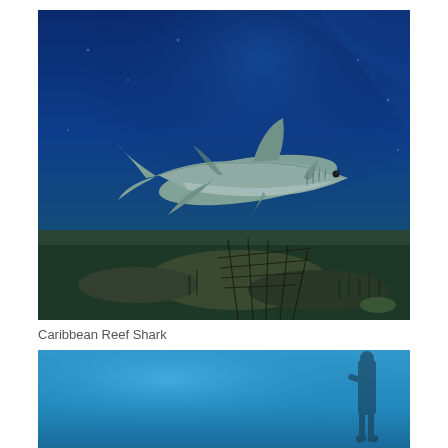[Figure (photo): Underwater photograph of a Caribbean Reef Shark swimming above a coral reef structure with nets/cages visible on the seafloor, deep blue ocean water background.]
Caribbean Reef Shark
[Figure (photo): Underwater photograph showing clear blue water with a diver's silhouette partially visible on the right side, bright blue ocean environment.]